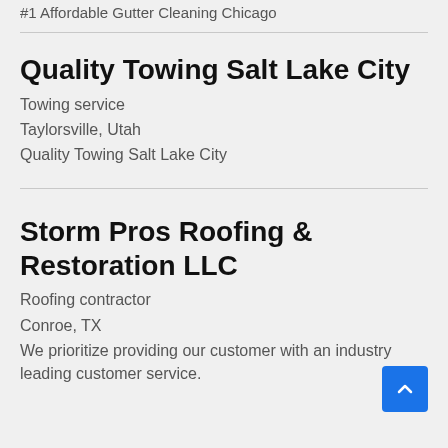#1 Affordable Gutter Cleaning Chicago
Quality Towing Salt Lake City
Towing service
Taylorsville, Utah
Quality Towing Salt Lake City
Storm Pros Roofing & Restoration LLC
Roofing contractor
Conroe, TX
We prioritize providing our customer with an industry leading customer service.